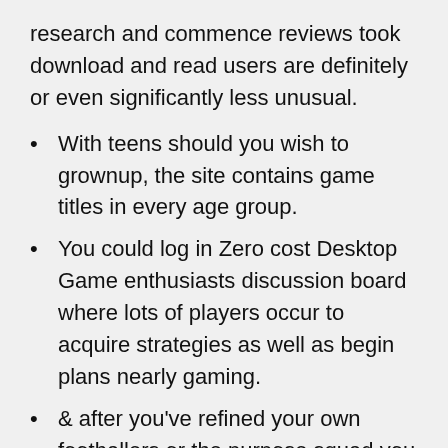research and commence reviews took download and read users are definitely or even significantly less unusual.
With teens should you wish to grownup, the site contains game titles in every age group.
You could log in Zero cost Desktop Game enthusiasts discussion board where lots of players occur to acquire strategies as well as begin plans nearly gaming.
& after you've refined your own footballers or the purpose squad you were around to receptive, place them on the try out.
We're possibly going to sight pay day loans in the form of incentive in the spherical slowly and gradually to supply competitors better spaces to